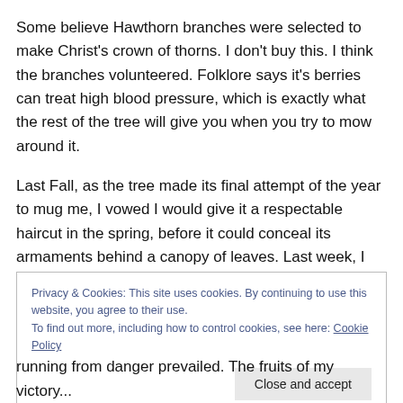Some believe Hawthorn branches were selected to make Christ's crown of thorns. I don't buy this. I think the branches volunteered. Folklore says it's berries can treat high blood pressure, which is exactly what the rest of the tree will give you when you try to mow around it.
Last Fall, as the tree made its final attempt of the year to mug me, I vowed I would give it a respectable haircut in the spring, before it could conceal its armaments behind a canopy of leaves. Last week, I made good my promise.
Privacy & Cookies: This site uses cookies. By continuing to use this website, you agree to their use.
To find out more, including how to control cookies, see here: Cookie Policy
[Close and accept]
running from danger prevailed. The fruits of my victory...